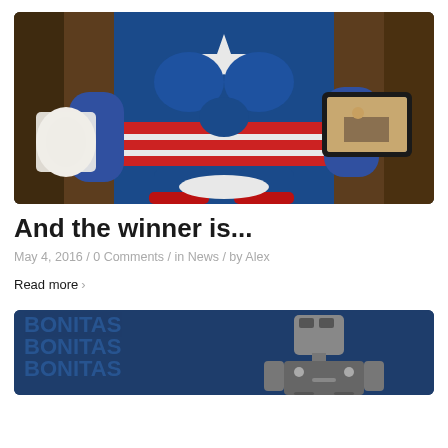[Figure (photo): Person dressed in Captain America costume sitting on a toilet, holding a roll of toilet paper in one hand and a tablet displaying a video in the other hand. Background is a brown/tan wall.]
And the winner is...
May 4, 2016 / 0 Comments / in News / by Alex
Read more >
[Figure (photo): Second blog post image showing a robot figure against a blue background with repeated text 'BONITAS'.]